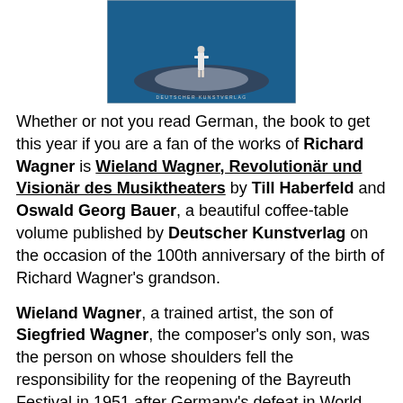[Figure (photo): Book cover photo showing a lone figure standing on a dimly lit circular stage against a deep blue background, with text 'DEUTSCHER KUNSTVERLAG' at the bottom]
Whether or not you read German, the book to get this year if you are a fan of the works of Richard Wagner is Wieland Wagner, Revolutionär und Visionär des Musiktheaters by Till Haberfeld and Oswald Georg Bauer, a beautiful coffee-table volume published by Deutscher Kunstverlag on the occasion of the 100th anniversary of the birth of Richard Wagner's grandson.
Wieland Wagner, a trained artist, the son of Siegfried Wagner, the composer's only son, was the person on whose shoulders fell the responsibility for the reopening of the Bayreuth Festival in 1951 after Germany's defeat in World War II.  His mother Winifred, who ran the festival from 1930, became a staunch supporter of Adolf Hitler, and she was forbidden to run the festival after the war.  It was up to her children, Wieland and his brother Wolfgang, to get the festival up and running again. Wolfgang would attend to the